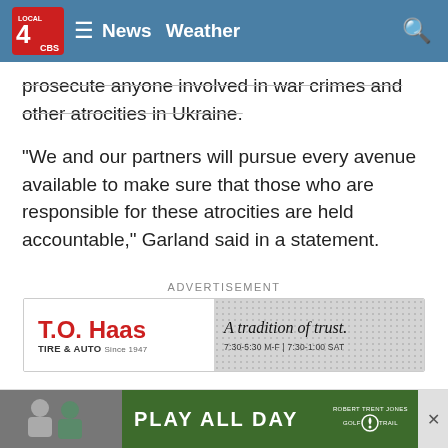LOCAL 4 News | Weather
prosecute anyone involved in war crimes and other atrocities in Ukraine.
“We and our partners will pursue every avenue available to make sure that those who are responsible for these atrocities are held accountable,” Garland said in a statement.
ADVERTISEMENT
[Figure (screenshot): T.O. Haas Tire & Auto advertisement banner. Left side white background with red bold T.O. Haas logo and 'TIRE & AUTO Since 1947' tagline. Right side gray dotted background with cursive text 'A tradition of trust.' and hours '7:30-5:30 M-F | 7:30-1:00 SAT']
Garland also tapped Eli Rosenbaum — a 36-year Justice Department veteran who headed efforts to identify and deport [obscured] mes accoun[obscured]
[Figure (screenshot): Bottom overlay ad bar: Left side shows thumbnail of people (photo), center green background with 'PLAY ALL DAY' text in white, right side Robert Trent Jones Golf Trail logo, far right close button with X]